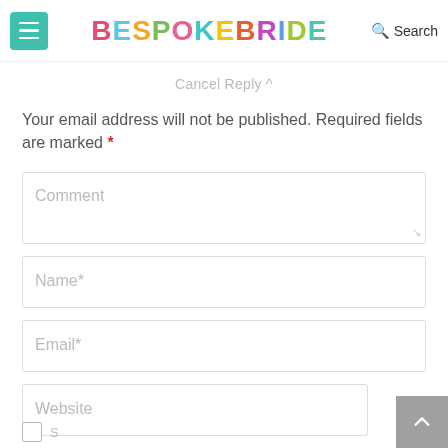[Figure (logo): Bespoke Bride website header with hamburger menu icon in teal, colorful BESPOKEBRIDE logo, and Search icon]
Cancel Reply ^
Your email address will not be published. Required fields are marked *
Comment (form field placeholder)
Name* (form field placeholder)
Email* (form field placeholder)
Website (form field placeholder)